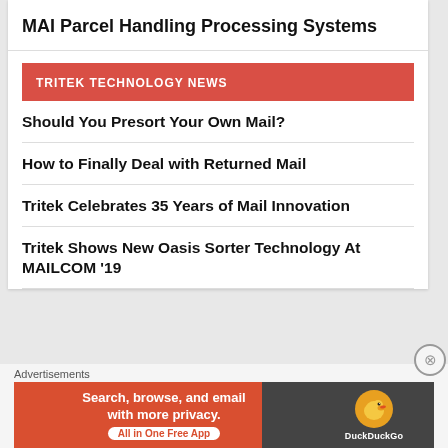MAI Parcel Handling Processing Systems
TRITEK TECHNOLOGY NEWS
Should You Presort Your Own Mail?
How to Finally Deal with Returned Mail
Tritek Celebrates 35 Years of Mail Innovation
Tritek Shows New Oasis Sorter Technology At MAILCOM ’19
Advertisements
[Figure (infographic): DuckDuckGo advertisement banner: 'Search, browse, and email with more privacy. All in One Free App' with DuckDuckGo duck logo on dark background.]